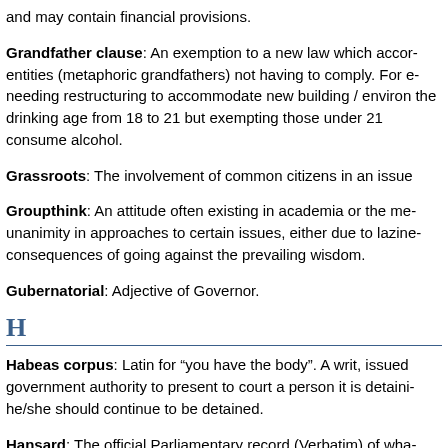and may contain financial provisions.
Grandfather clause: An exemption to a new law which accords entities (metaphoric grandfathers) not having to comply. For example, needing restructuring to accommodate new building / environmental law, the drinking age from 18 to 21 but exempting those under 21 who already consume alcohol.
Grassroots: The involvement of common citizens in an issue
Groupthink: An attitude often existing in academia or the media for unanimity in approaches to certain issues, either due to laziness or consequences of going against the prevailing wisdom.
Gubernatorial: Adjective of Governor.
H
Habeas corpus: Latin for “you have the body”. A writ, issued to a government authority to present to court a person it is detaining, so he/she should continue to be detained.
Hansard: The official Parliamentary record (Verbatim) of what is said. Hansard was the first printer and later publisher of the Official Debates.